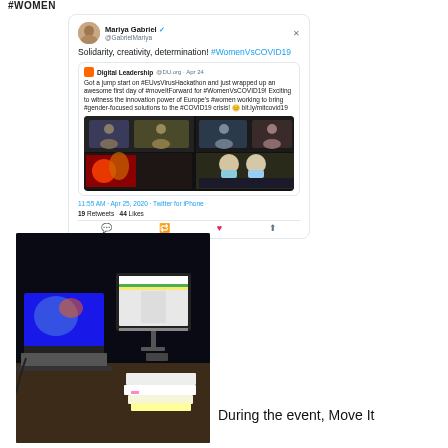#WOMEN
[Figure (screenshot): Tweet by Mariya Gabriel (@GabrielMariya) reading 'Solidarity, creativity, determination! #WomenVsCOVID19' with a retweet from Digital Leadership @DU.org from Apr 24 about a hackathon, containing a composite image of a video call grid and people wearing masks. Tweet timestamp: 11:55 AM · Apr 25, 2020 · Twitter for iPhone. 19 Retweets, 44 Likes.]
[Figure (photo): Photo of a dark workspace with a laptop showing a colorful chart/dashboard, a monitor with an app interface, a phone, and documents/notebooks on a wooden desk.]
During the event, Move It